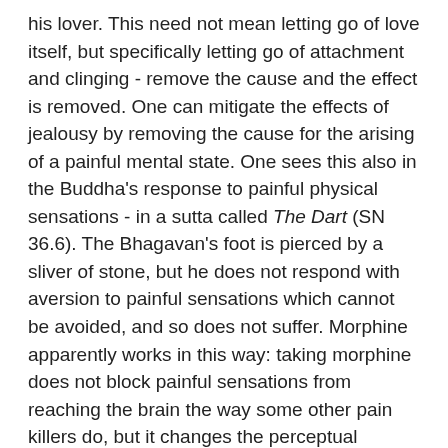his lover. This need not mean letting go of love itself, but specifically letting go of attachment and clinging - remove the cause and the effect is removed. One can mitigate the effects of jealousy by removing the cause for the arising of a painful mental state. One sees this also in the Buddha's response to painful physical sensations - in a sutta called The Dart (SN 36.6). The Bhagavan's foot is pierced by a sliver of stone, but he does not respond with aversion to painful sensations which cannot be avoided, and so does not suffer. Morphine apparently works in this way: taking morphine does not block painful sensations from reaching the brain the way some other pain killers do, but it changes the perceptual relationship to the pain, with the result that one relaxes and is not distressed by it.
Whatever developments came afterwards, the message of the Pāli Canon seems reasonably clear. Having acted one will inevitably experience the consequences of that action. However the consequences may be mitigated to some extent through spiritual practices. The basic approach is simply to reflect on previous actions and consequences so that one learns not to create more difficulties. But a benefit